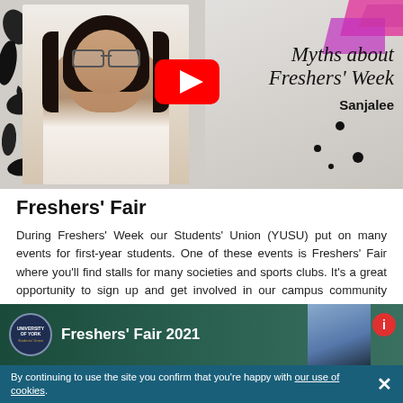[Figure (screenshot): YouTube video thumbnail showing a young woman with glasses and dark hair, with text 'Myths about Freshers' Week' and 'Sanjalee' on the right side, with a YouTube play button in the center and decorative paint splatter design]
Freshers' Fair
During Freshers' Week our Students' Union (YUSU) put on many events for first-year students. One of these events is Freshers' Fair where you'll find stalls for many societies and sports clubs. It's a great opportunity to sign up and get involved in our campus community activities.
[Figure (screenshot): YouTube video thumbnail for 'Freshers' Fair 2021' with YUSU logo and a person visible on the right]
By continuing to use the site you confirm that you're happy with our use of cookies.